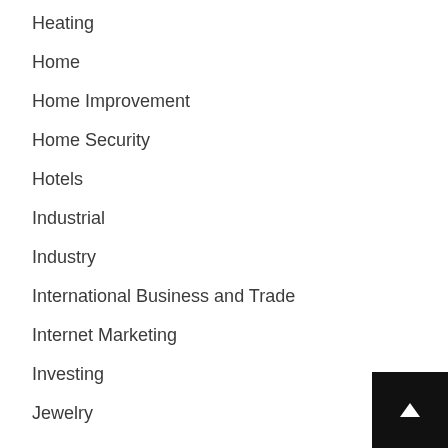Heating
Home
Home Improvement
Home Security
Hotels
Industrial
Industry
International Business and Trade
Internet Marketing
Investing
Jewelry